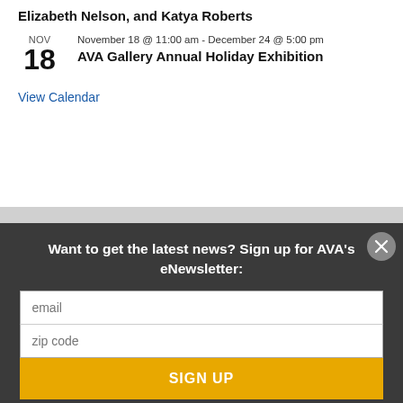Elizabeth Nelson, and Katya Roberts
November 18 @ 11:00 am - December 24 @ 5:00 pm
AVA Gallery Annual Holiday Exhibition
View Calendar
Want to get the latest news?  Sign up for AVA's eNewsletter: